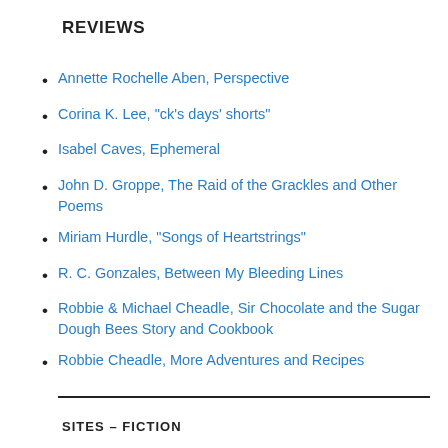REVIEWS
Annette Rochelle Aben, Perspective
Corina K. Lee, "ck's days' shorts"
Isabel Caves, Ephemeral
John D. Groppe, The Raid of the Grackles and Other Poems
Miriam Hurdle, "Songs of Heartstrings"
R. C. Gonzales, Between My Bleeding Lines
Robbie & Michael Cheadle, Sir Chocolate and the Sugar Dough Bees Story and Cookbook
Robbie Cheadle, More Adventures and Recipes
SITES – FICTION